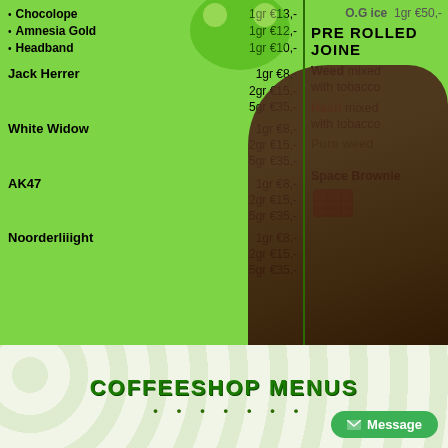[Figure (photo): Coffeeshop menu board showing cannabis strains and prices on green background, partially obscured by person in foreground]
Chocolope | 1gr €13,-
Amnesia Gold | 1gr €12,-
Headband | 1gr €10,-
Jack Herrer | 1gr €8,- 2gr €15,- 5gr €35,-
White Widow | 1gr €8,- 2gr €15,- 5gr €35,-
AK47 | 1gr €8,- 2gr €15,- 5gr €35,-
Noorderliiight | 1gr €8,- 2gr €15,- 5gr €35,-
PRE ROLLED JOINT
O.G ice | 1gr €50,-
Weed mixed with tobacco
Hash mixed with tobacco
Pure weed
Space Brownie
COFFEESHOP MENUS